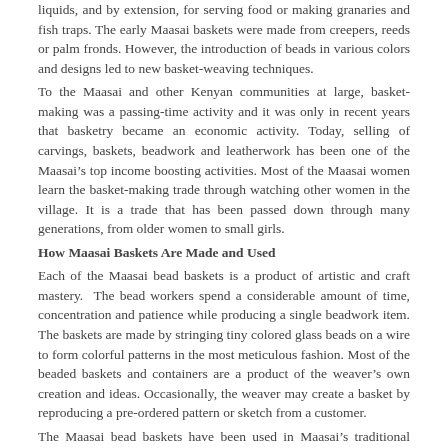liquids, and by extension, for serving food or making granaries and fish traps. The early Maasai baskets were made from creepers, reeds or palm fronds. However, the introduction of beads in various colors and designs led to new basket-weaving techniques.
To the Maasai and other Kenyan communities at large, basket-making was a passing-time activity and it was only in recent years that basketry became an economic activity. Today, selling of carvings, baskets, beadwork and leatherwork has been one of the Maasai's top income boosting activities. Most of the Maasai women learn the basket-making trade through watching other women in the village. It is a trade that has been passed down through many generations, from older women to small girls.
How Maasai Baskets Are Made and Used
Each of the Maasai bead baskets is a product of artistic and craft mastery. The bead workers spend a considerable amount of time, concentration and patience while producing a single beadwork item. The baskets are made by stringing tiny colored glass beads on a wire to form colorful patterns in the most meticulous fashion. Most of the beaded baskets and containers are a product of the weaver's own creation and ideas. Occasionally, the weaver may create a basket by reproducing a pre-ordered pattern or sketch from a customer.
The Maasai bead baskets have been used in Maasai's traditional ceremonies for years. During a wedding ceremony the Maasai bride is presented with beaded bowls by her mother as a symbol of wifehood, family and care for her husband. The Maasai also use the small lidded containers to signify the status of a newly married woman. Among many communities in Kenya, beaded baskets are used as containers